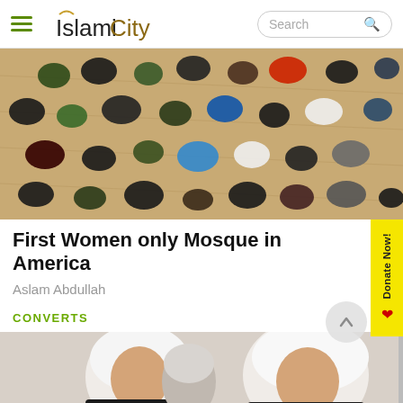[Figure (screenshot): IslamiCity website header with hamburger menu, IslamiCity logo, and search box]
[Figure (photo): Aerial/overhead view of people (many wearing hijabs and dark clothing) sitting on a wooden floor in a mosque]
First Women only Mosque in America
Aslam Abdullah
CONVERTS
[Figure (photo): Two women wearing white hijabs, photographed from below/mid level, appears to be related to the Converts section]